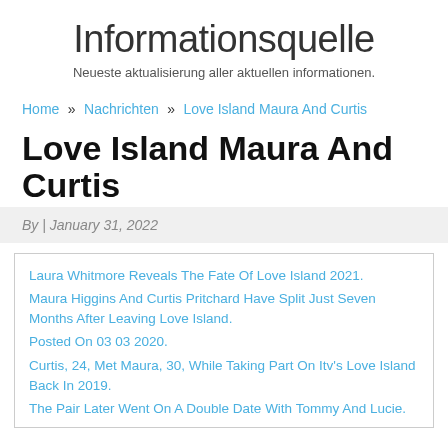Informationsquelle
Neueste aktualisierung aller aktuellen informationen.
Home » Nachrichten » Love Island Maura And Curtis
Love Island Maura And Curtis
By | January 31, 2022
Laura Whitmore Reveals The Fate Of Love Island 2021.
Maura Higgins And Curtis Pritchard Have Split Just Seven Months After Leaving Love Island.
Posted On 03 03 2020.
Curtis, 24, Met Maura, 30, While Taking Part On Itv's Love Island Back In 2019.
The Pair Later Went On A Double Date With Tommy And Lucie.